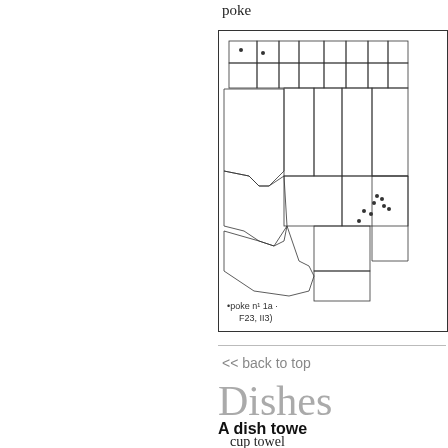poke
[Figure (map): Geographic distribution map showing dot locations across US states, with caption: •poke n¹ 1a · F23, II3)]
<< back to top
Dishes
A dish towe
cup towel